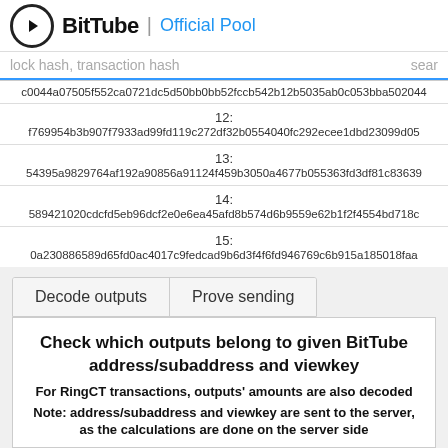BitTube | Official Pool
lock hash, transaction hash  sear
c0044a07505f552ca0721dc5d50bb0bb52fccb542b12b5035ab0c053bba502044
12: f769954b3b907f7933ad99fd119c272df32b0554040fc292ecee1dbd23099d05
13: 54395a9829764af192a90856a91124f459b3050a4677b055363fd3df81c83639
14: 589421020cdcfd5eb96dcf2e0e6ea45afd8b574d6b9559e62b1f2f4554bd718c
15: 0a230886589d65fd0ac4017c9fedcad9b6d3f4f6fd946769c6b915a185018faa
Decode outputs    Prove sending
Check which outputs belong to given BitTube address/subaddress and viewkey
For RingCT transactions, outputs' amounts are also decoded
Note: address/subaddress and viewkey are sent to the server, as the calculations are done on the server side